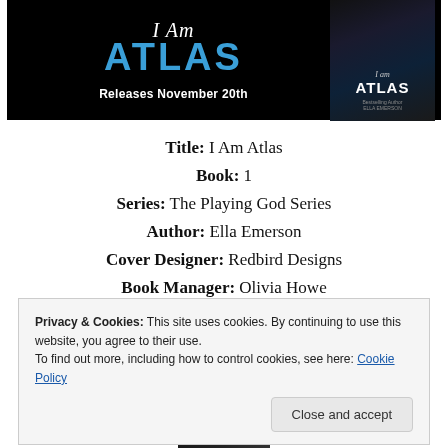[Figure (illustration): Dark banner image for 'I Am Atlas' book by Ella Emerson. Left side shows italic cursive 'I Am' above bold blue 'ATLAS' text with 'Releases November 20th' below. Right side shows the book cover with title and author name on dark background.]
Title: I Am Atlas
Book: 1
Series: The Playing God Series
Author: Ella Emerson
Cover Designer: Redbird Designs
Book Manager: Olivia Howe
Privacy & Cookies: This site uses cookies. By continuing to use this website, you agree to their use.
To find out more, including how to control cookies, see here: Cookie Policy